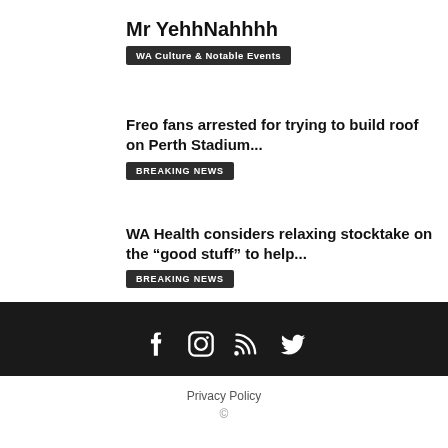Mr YehhNahhhh
WA Culture & Notable Events
Freo fans arrested for trying to build roof on Perth Stadium...
BREAKING NEWS
WA Health considers relaxing stocktake on the “good stuff” to help...
BREAKING NEWS
[Figure (other): Social media icons: Facebook, Instagram, RSS, Twitter on dark background]
Privacy Policy
©